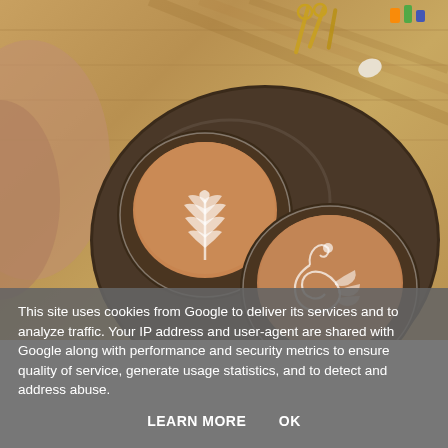[Figure (photo): Overhead view of two cups of coffee with latte art on a dark round tray on a wooden table. The left cup has a rosette/leaf pattern and the right cup has a swan/scroll pattern. Some items visible on the wooden table in the background.]
This site uses cookies from Google to deliver its services and to analyze traffic. Your IP address and user-agent are shared with Google along with performance and security metrics to ensure quality of service, generate usage statistics, and to detect and address abuse.
LEARN MORE    OK